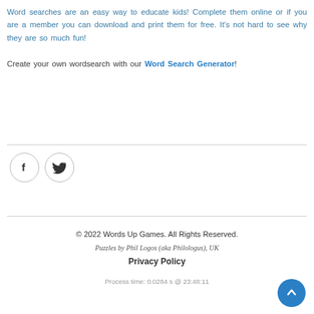Word searches are an easy way to educate kids! Complete them online or if you are a member you can download and print them for free. It's not hard to see why they are so much fun!

Create your own wordsearch with our Word Search Generator!
[Figure (other): Social media icons: Facebook and Twitter in circular outlines]
© 2022 Words Up Games. All Rights Reserved.
Puzzles by Phil Logos (aka Philologus), UK
Privacy Policy
Process time: 0.0284 s @ 23:48:11